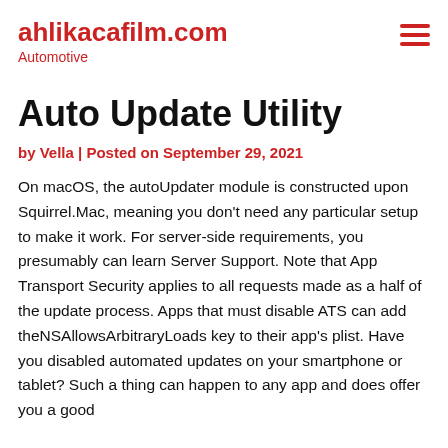ahlikacafilm.com
Automotive
Auto Update Utility
by Vella | Posted on September 29, 2021
On macOS, the autoUpdater module is constructed upon Squirrel.Mac, meaning you don't need any particular setup to make it work. For server-side requirements, you presumably can learn Server Support. Note that App Transport Security applies to all requests made as a half of the update process. Apps that must disable ATS can add theNSAllowsArbitraryLoads key to their app's plist. Have you disabled automated updates on your smartphone or tablet? Such a thing can happen to any app and does offer you a good